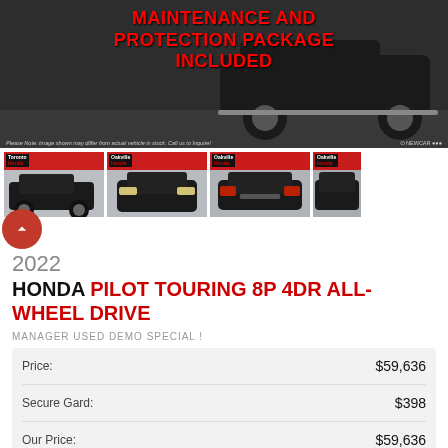[Figure (photo): Dark SUV vehicle rear/side view on grey background with promotional red text overlay]
MAINTENANCE AND PROTECTION PACKAGE INCLUDED
[Figure (photo): Four thumbnail photos of a black Honda Pilot SUV from different angles, taken at a Honda dealership]
2022
HONDA PILOT TOURING 8P 4DR ALL-WHEEL DRIVE
MANAGER USED DEMO SPECIAL !
|  |  |
| --- | --- |
| Price: | $59,636 |
| Secure Gard: | $398 |
| Our Price: | $59,636 |